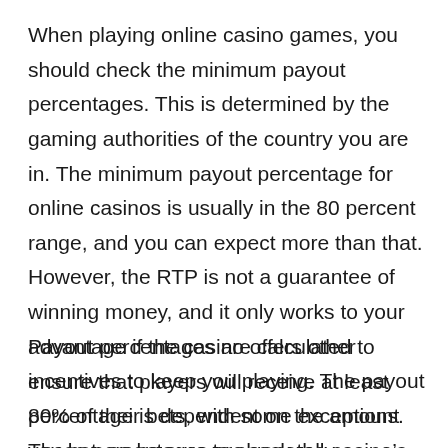When playing online casino games, you should check the minimum payout percentages. This is determined by the gaming authorities of the country you are in. The minimum payout percentage for online casinos is usually in the 80 percent range, and you can expect more than that. However, the RTP is not a guarantee of winning money, and it only works to your advantage if the casino offers other incentives to keep you playing. The payout percentage is dependent on the amount you bet, so be sure to check the casino’s payout percentage before playing.
Payout percentages are calculated to ensure that players will receive at least 80% of their bets, with some exceptions. These percentages are generally